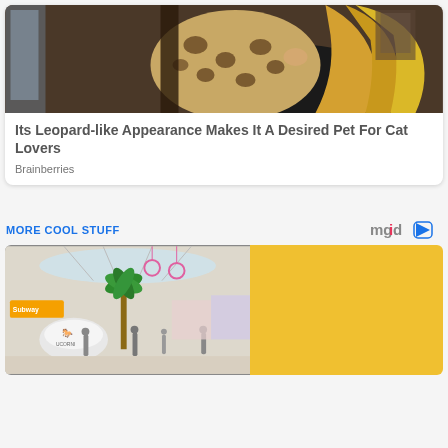[Figure (photo): A person with long blonde wavy hair holding a large spotted/leopard-print item, dark background interior setting]
Its Leopard-like Appearance Makes It A Desired Pet For Cat Lovers
Brainberries
MORE COOL STUFF
[Figure (logo): mgid logo with play button arrow]
[Figure (photo): Shopping mall interior with palm tree, pink bicycles hanging from ceiling, people walking, retail stores in background; right half is solid yellow/gold color]